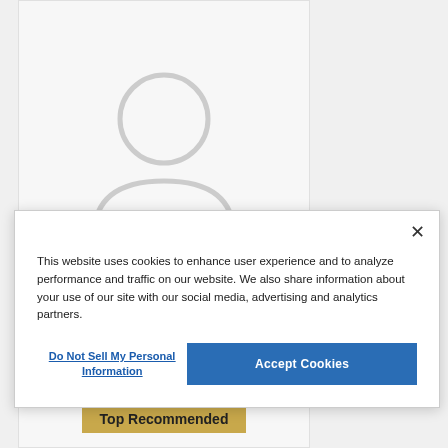[Figure (illustration): Generic placeholder avatar silhouette icon (head and shoulders outline in light gray) inside a light gray card area]
Magnus Boyd
This website uses cookies to enhance user experience and to analyze performance and traffic on our website. We also share information about your use of our site with our social media, advertising and analytics partners.
Do Not Sell My Personal Information
Accept Cookies
Top Recommended